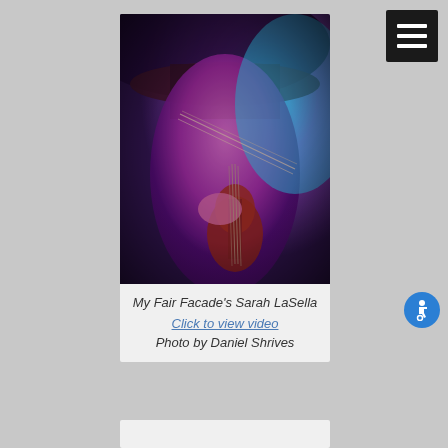[Figure (other): Navigation menu button with three white horizontal lines on black background, top right corner]
[Figure (photo): A woman playing an electric violin, wearing a wide-brimmed hat, illuminated in purple and teal/cyan lighting, close-up dramatic shot]
My Fair Facade's Sarah LaSella
Click to view video
Photo by Daniel Shrives
[Figure (other): Accessibility icon button - blue circle with white wheelchair user symbol]
[Figure (other): Partial view of another card/image at bottom of page]